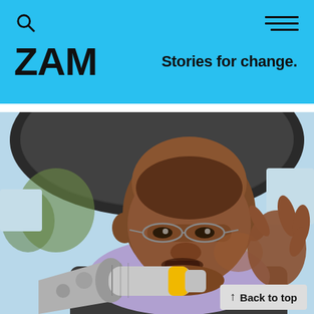ZAM — Stories for change.
[Figure (photo): A man speaking into a megaphone or bullhorn outdoors, wearing glasses and a light purple shirt with a dark jacket. A black umbrella is visible in the background along with trees and a light sky.]
Back to top